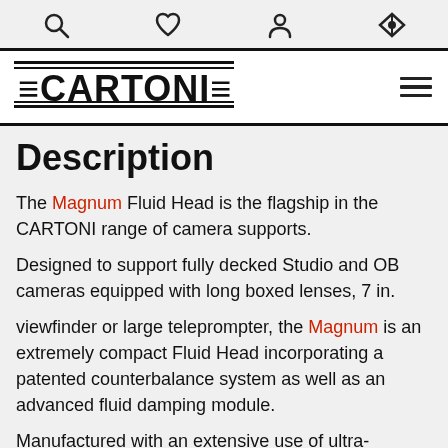[navigation icons: search, heart, person, brightness]
[Figure (logo): CARTONI logo with horizontal double-rule lines above and below the brand name]
Description
The Magnum Fluid Head is the flagship in the CARTONI range of camera supports.
Designed to support fully decked Studio and OB cameras equipped with long boxed lenses, 7 in.
viewfinder or large teleprompter, the Magnum is an extremely compact Fluid Head incorporating a patented counterbalance system as well as an advanced fluid damping module.
Manufactured with an extensive use of ultra-